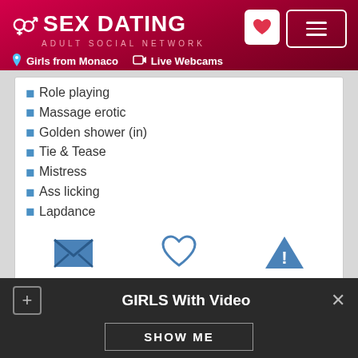SEX DATING ADULT SOCIAL NETWORK | Girls from Monaco | Live Webcams
✓ Role playing
✓ Massage erotic
✓ Golden shower (in)
✓ Tie & Tease
✓ Mistress
✓ Ass licking
✓ Lapdance
[Figure (infographic): Three action icons: envelope (message), heart (like), warning triangle (report)]
GIRLS With Video
SHOW ME